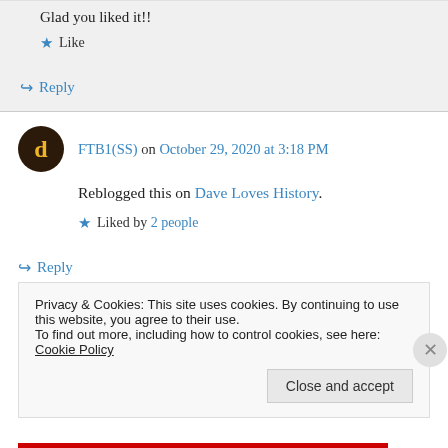Glad you liked it!!
★ Like
↪ Reply
FTB1(SS) on October 29, 2020 at 3:18 PM
Reblogged this on Dave Loves History.
★ Liked by 2 people
↪ Reply
Privacy & Cookies: This site uses cookies. By continuing to use this website, you agree to their use.
To find out more, including how to control cookies, see here: Cookie Policy
Close and accept